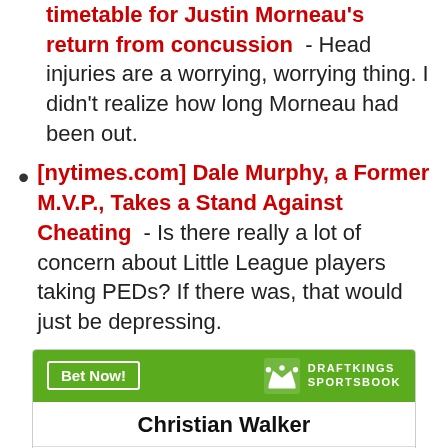[nytimes.com] No timetable for Justin Morneau's return from concussion - Head injuries are a worrying, worrying thing. I didn't realize how long Morneau had been out.
[nytimes.com] Dale Murphy, a Former M.V.P., Takes a Stand Against Cheating - Is there really a lot of concern about Little League players taking PEDs? If there was, that would just be depressing.
[Figure (other): DraftKings Sportsbook betting widget for Christian Walker showing O/U Total Home Runs (@ KAN) = 0.5 and O/U Total Hits (@ KAN) = 0.5]